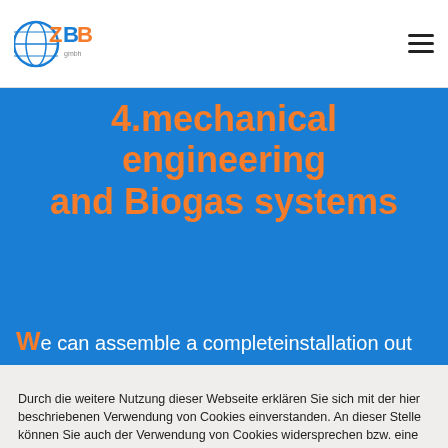[Figure (logo): ZBB company logo with globe icon and stylized letters ZBB in blue and orange]
4.mechanical engineering and Biogas systems
We can assemble a completeinstallation out
Durch die weitere Nutzung dieser Webseite erklären Sie sich mit der hier beschriebenen Verwendung von Cookies einverstanden. An dieser Stelle können Sie auch der Verwendung von Cookies widersprechen bzw. eine erteilte Einwilligung widerrufen. Der Einsatz von Cookies erfolgt, um Ihre Nutzung unserer Webseiten zu analysieren und unser Angebot zu personalisieren. Zur Datenschutzerklärung
ZUR KENNTNIS GENOMMEN